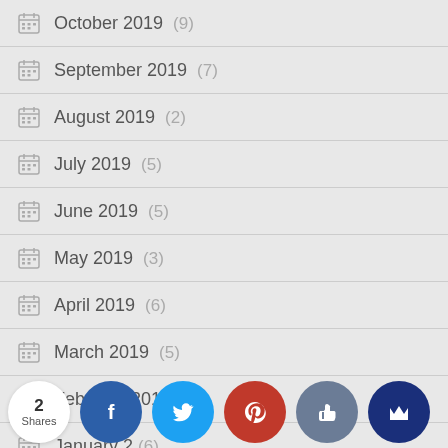October 2019 (9)
September 2019 (7)
August 2019 (2)
July 2019 (5)
June 2019 (5)
May 2019 (3)
April 2019 (6)
March 2019 (5)
February 2019 (4)
January 2019 (6)